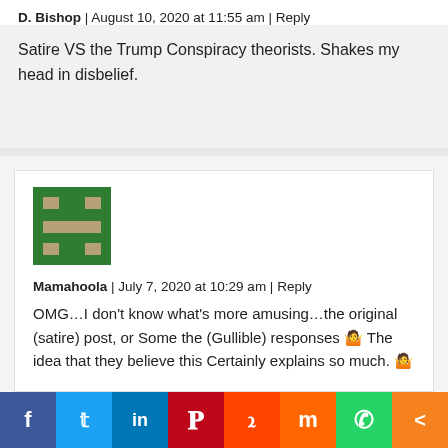D. Bishop | August 10, 2020 at 11:55 am | Reply
Satire VS the Trump Conspiracy theorists. Shakes my head in disbelief.
[Figure (illustration): Pixel art avatar with green background and tan/brown geometric pattern resembling an H shape]
Mamahoola | July 7, 2020 at 10:29 am | Reply
OMG…I don't know what's more amusing…the original (satire) post, or Some the (Gullible) responses 🤷 The idea that they believe this Certainly explains so much. 🤷
Facebook | Twitter | LinkedIn | Pinterest | Reddit | Mix | WhatsApp | Share